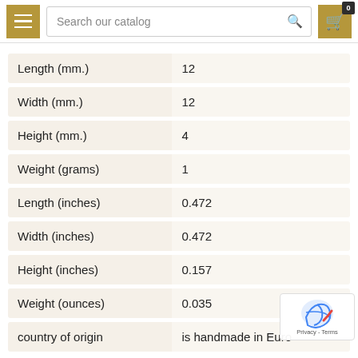Search our catalog
| Attribute | Value |
| --- | --- |
| Length (mm.) | 12 |
| Width (mm.) | 12 |
| Height (mm.) | 4 |
| Weight (grams) | 1 |
| Length (inches) | 0.472 |
| Width (inches) | 0.472 |
| Height (inches) | 0.157 |
| Weight (ounces) | 0.035 |
| country of origin | is handmade in Euro |